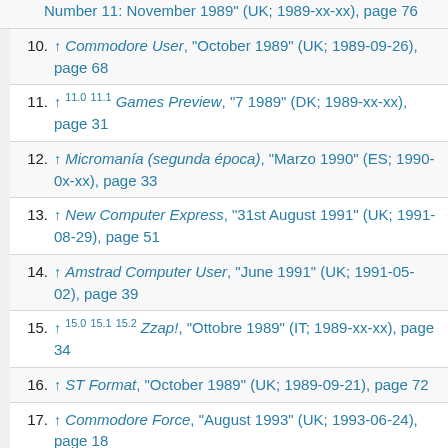Number 11: November 1989" (UK; 1989-xx-xx), page 76
10. ↑ Commodore User, "October 1989" (UK; 1989-09-26), page 68
11. ↑ 11.0 11.1 Games Preview, "7 1989" (DK; 1989-xx-xx), page 31
12. ↑ Micromanía (segunda época), "Marzo 1990" (ES; 1990-0x-xx), page 33
13. ↑ New Computer Express, "31st August 1991" (UK; 1991-08-29), page 51
14. ↑ Amstrad Computer User, "June 1991" (UK; 1991-05-02), page 39
15. ↑ 15.0 15.1 15.2 Zzap!, "Ottobre 1989" (IT; 1989-xx-xx), page 34
16. ↑ ST Format, "October 1989" (UK; 1989-09-21), page 72
17. ↑ Commodore Force, "August 1993" (UK; 1993-06-24), page 18
18. ↑ Power Play, "12/89" (DE; 1989-11-13), page 70